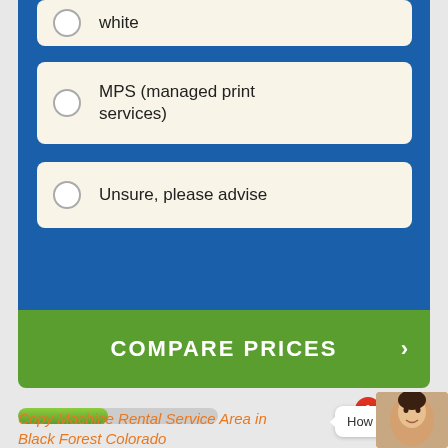white
MPS (managed print services)
Unsure, please advise
COMPARE PRICES
How can we help you?
Copy Machine Rental Service Area in Black Forest Colorado